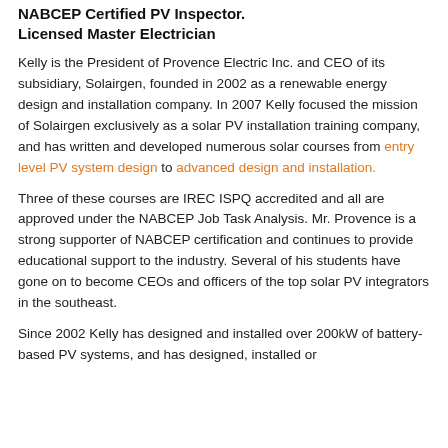NABCEP Certified PV Inspector
Licensed Master Electrician
Kelly is the President of Provence Electric Inc. and CEO of its subsidiary, Solairgen, founded in 2002 as a renewable energy design and installation company. In 2007 Kelly focused the mission of Solairgen exclusively as a solar PV installation training company, and has written and developed numerous solar courses from entry level PV system design to advanced design and installation.
Three of these courses are IREC ISPQ accredited and all are approved under the NABCEP Job Task Analysis. Mr. Provence is a strong supporter of NABCEP certification and continues to provide educational support to the industry. Several of his students have gone on to become CEOs and officers of the top solar PV integrators in the southeast.
Since 2002 Kelly has designed and installed over 200kW of battery-based PV systems, and has designed, installed or